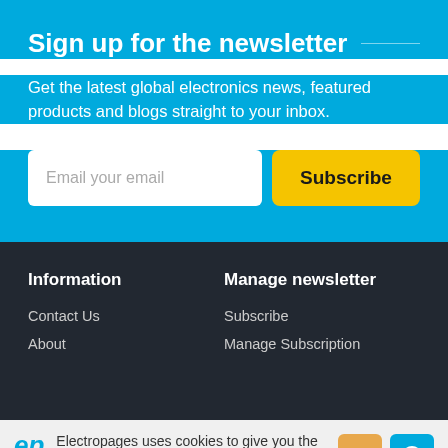Sign up for the newsletter
Get the latest global electronics news, featured products and blogs straight to your inbox.
Email your email
Subscribe
Information
Manage newsletter
Contact Us
About
Subscribe
Manage Subscription
Electropages uses cookies to give you the best experience.